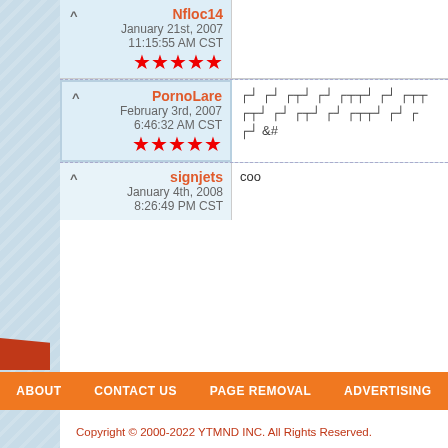| User/Date | Comment |
| --- | --- |
| Nfloc14
January 21st, 2007
11:15:55 AM CST
★★★★★ | (cut off) |
| PornoLare
February 3rd, 2007
6:46:32 AM CST
★★★★★ | &# |
| signjets
January 4th, 2008
8:26:49 PM CST | coo |
ABOUT   CONTACT US   PAGE REMOVAL   ADVERTISING
Copyright © 2000-2022 YTMND INC. All Rights Reserved.